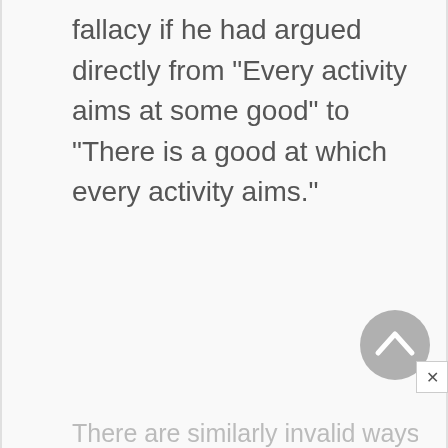fallacy if he had argued directly from "Every activity aims at some good" to "There is a good at which every activity aims."
[Figure (other): Circular scroll-to-top button with upward chevron arrow on grey background, with a small close (x) button in the corner]
There are similarly invalid ways of